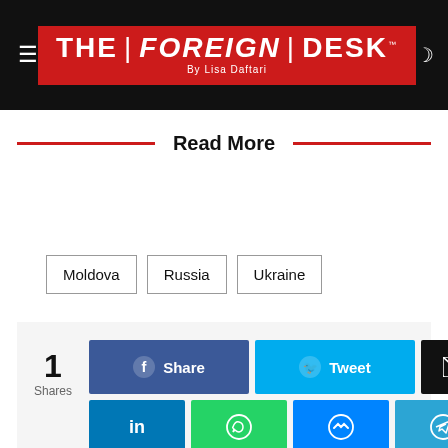THE | FOREIGN | DESK™ By Lisa Daftari
Read More
Moldova
Russia
Ukraine
1 Shares
Share  Tweet  [Email]  [LinkedIn]  [WhatsApp]  [Messenger]  [Telegram]